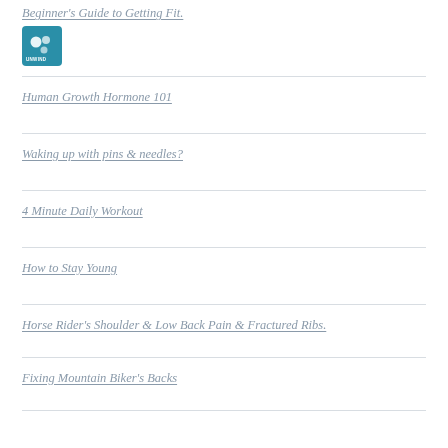Beginner's Guide to Getting Fit.
[Figure (logo): Unwind Chiropractic logo - teal square with circular bubble design and UNWIND text]
Human Growth Hormone 101
Waking up with pins & needles?
4 Minute Daily Workout
How to Stay Young
Horse Rider's Shoulder & Low Back Pain & Fractured Ribs.
Fixing Mountain Biker's Backs